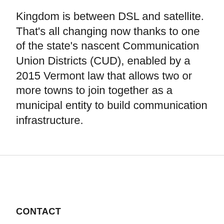Kingdom is between DSL and satellite. That’s all changing now thanks to one of the state’s nascent Communication Union Districts (CUD), enabled by a 2015 Vermont law that allows two or more towns to join together as a municipal entity to build communication infrastructure.
[Figure (other): Pagination control with buttons: 1 (active, blue), 2, next, last]
CONTACT